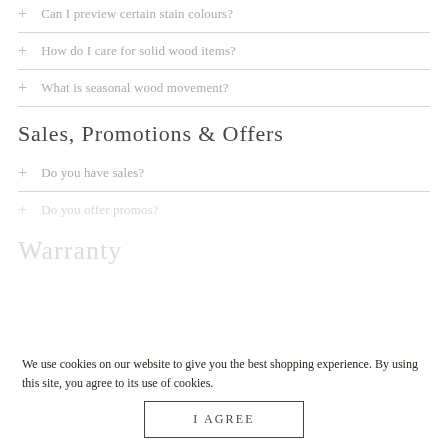Can I preview certain stain colours?
How do I care for solid wood items?
What is seasonal wood movement?
Sales, Promotions & Offers
Do you have sales?
Do you offer promos?
Warranty
We use cookies on our website to give you the best shopping experience. By using this site, you agree to its use of cookies.
I AGREE